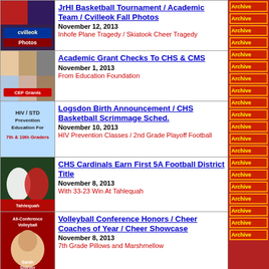[Figure (photo): cvilleok Photos thumbnail with red and blue overlay]
JrHI Basketball Tournament / Academic Team / Cvilleok Fall Photos
November 12, 2013
Inhofe Plane Tragedy / Skiatook Cheer Tragedy
[Figure (photo): CEF Grants group photo thumbnail]
Academic Grant Checks To CHS & CMS
November 1, 2013
From Education Foundation
[Figure (photo): HIV/STD Prevention Education For 7th & 10th Graders thumbnail]
Logsdon Birth Announcement / CHS Basketball Scrimmage Sched.
November 10, 2013
HIV Prevention Classes / 2nd Grade Playoff Football
[Figure (photo): Tahlequah football game photo thumbnail]
CHS Cardinals Earn First 5A Football District Title
November 8, 2013
With 33-23 Win At Tahlequah
[Figure (photo): All-Conference Volleyball Sarah Shiever photo thumbnail]
Volleyball Conference Honors / Cheer Coaches of Year / Cheer Showcase
November 8, 2013
7th Grade Pillows and Marshmellow